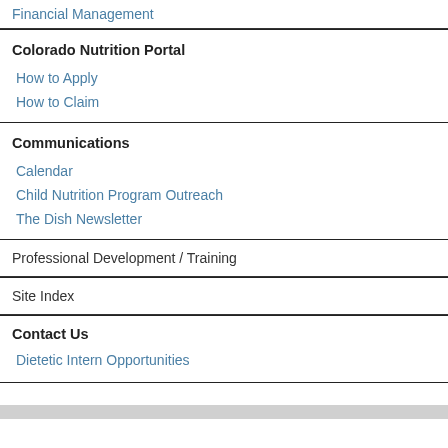Financial Management
Colorado Nutrition Portal
How to Apply
How to Claim
Communications
Calendar
Child Nutrition Program Outreach
The Dish Newsletter
Professional Development / Training
Site Index
Contact Us
Dietetic Intern Opportunities